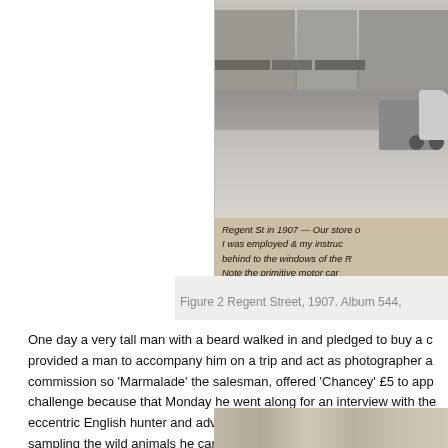[Figure (photo): A black and white historical photograph of Regent Street in 1907, showing horse-drawn carriages, pedestrians, and period storefronts. Below the photograph is a handwritten note reading: 'Regent St in 1907 — Our store o[n] / I was employed & my instruc[tions] / behind to the windows of the R[itz] / Note the primitive motor car']
Figure 2 Regent Street, 1907. Album 544,
One day a very tall man with a beard walked in and pledged to buy a c[amera] provided a man to accompany him on a trip and act as photographer a[nd] commission so 'Marmalade' the salesman, offered 'Chancey' £5 to app[ly] challenge because that Monday he went along for an interview with the eccentric English hunter and adventurer, John Talbot Clifton (1868-192[…]) sampling the wild animals he came across (including a mammoth foun[d…])
[Figure (photo): Partial view of a second historical photograph showing what appears to be a portrait, cropped at the bottom of the page.]